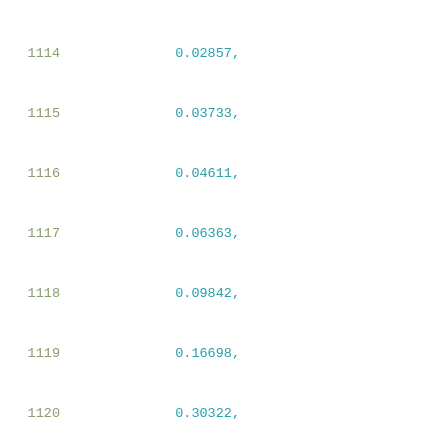1114    0.02857,
1115    0.03733,
1116    0.04611,
1117    0.06363,
1118    0.09842,
1119    0.16698,
1120    0.30322,
1121    0.57798
1122    ],
1123    [
1124    0.02838,
1125    0.03714,
1126    0.04592,
1127    0.06352,
1128    0.09813,
1129    0.16691,
1130    0.30354,
1131    0.57628
1132    ],
1133    [
1134    0.02816,